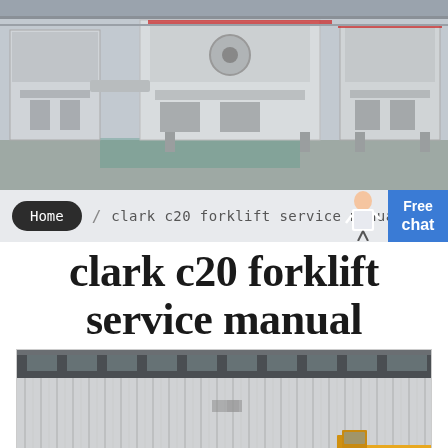[Figure (photo): Industrial machinery/crusher equipment in a factory setting, gray tones]
Home / clark c20 forklift service manual
clark c20 forklift service manual
[Figure (photo): Industrial warehouse or factory building exterior with corrugated metal walls and a forklift partially visible at the bottom right]